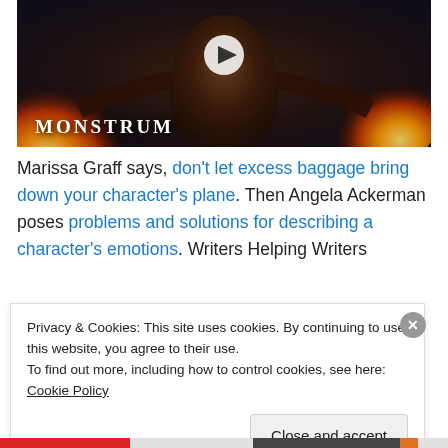[Figure (screenshot): Video thumbnail for 'Monstrum' showing a dark fantasy creature with fire in both hands, with a play button overlay and the word MONSTRUM in the lower left.]
Marissa Graff says, don't let excess baggage bring down your character's plane. Then Angela Ackerman poses problems and solutions for describing a character's emotions. Writers Helping Writers
Privacy & Cookies: This site uses cookies. By continuing to use this website, you agree to their use.
To find out more, including how to control cookies, see here: Cookie Policy
[Close and accept]